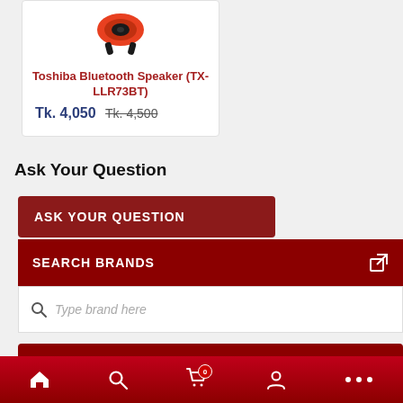[Figure (photo): Toshiba Bluetooth speaker product image - orange/red and black speaker]
Toshiba Bluetooth Speaker (TX-LLR73BT)
Tk. 4,050  Tk. 4,500
Ask Your Question
ASK YOUR QUESTION
SEARCH BRANDS
Type brand here
COMPARE PRODUCTS
Bottom navigation bar with home, search, cart (0), account, more icons